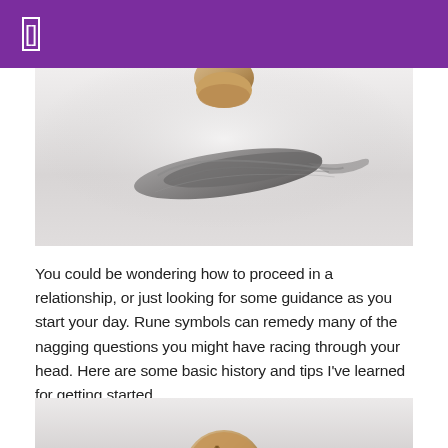[]
[Figure (photo): Close-up photo of rune stones or spiritual objects on a light background, showing a cork/wooden piece at top and a dark feather or rune-engraved object below]
You could be wondering how to proceed in a relationship, or just looking for some guidance as you start your day. Rune symbols can remedy many of the nagging questions you might have racing through your head. Here are some basic history and tips I've learned for getting started.
[Figure (photo): Partial photo of rune stones or spiritual objects, showing the top portion of a wooden/cork item with rune markings]